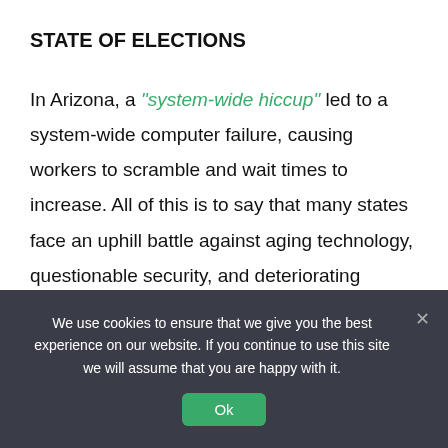STATE OF ELECTIONS
In Arizona, a “system-wide hiccup” led to a system-wide computer failure, causing workers to scramble and wait times to increase. All of this is to say that many states face an uphill battle against aging technology, questionable security, and deteriorating administration infrastructure. Though potential ideas for
We use cookies to ensure that we give you the best experience on our website. If you continue to use this site we will assume that you are happy with it.
Ok